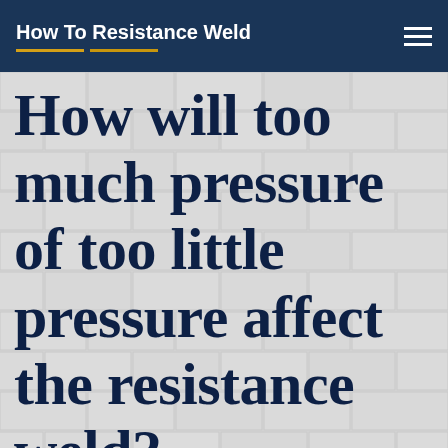How To Resistance Weld
How will too much pressure of too little pressure affect the resistance weld?